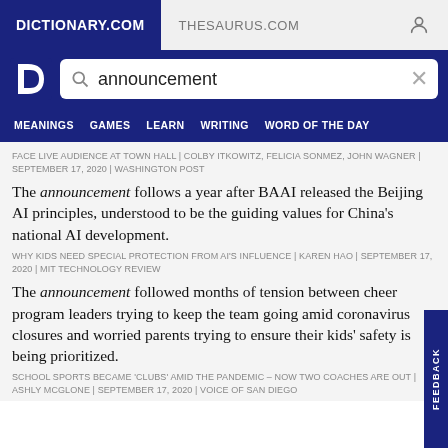DICTIONARY.COM    THESAURUS.COM
[Figure (screenshot): Dictionary.com logo — white letter D on dark blue background]
announcement
MEANINGS  GAMES  LEARN  WRITING  WORD OF THE DAY
FACE LIVE AUDIENCE AT TOWN HALL | COLBY ITKOWITZ, FELICIA SONMEZ, JOHN WAGNER | SEPTEMBER 17, 2020 | WASHINGTON POST
The announcement follows a year after BAAI released the Beijing AI principles, understood to be the guiding values for China's national AI development.
WHY KIDS NEED SPECIAL PROTECTION FROM AI'S INFLUENCE | KAREN HAO | SEPTEMBER 17, 2020 | MIT TECHNOLOGY REVIEW
The announcement followed months of tension between cheer program leaders trying to keep the team going amid coronavirus closures and worried parents trying to ensure their kids' safety is being prioritized.
SCHOOL SPORTS BECAME 'CLUBS' AMID THE PANDEMIC – NOW TWO COACHES ARE OUT | ASHLY MCGLONE | SEPTEMBER 17, 2020 | VOICE OF SAN DIEGO